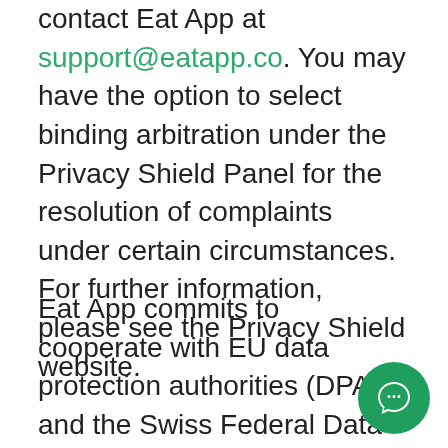contact Eat App at support@eatapp.co. You may have the option to select binding arbitration under the Privacy Shield Panel for the resolution of complaints under certain circumstances. For further information, please see the Privacy Shield website.
Eat App commits to cooperate with EU data protection authorities (DPAs) and the Swiss Federal Data Protection and Information Commissioner (FDPIC) and comply with the advice given by such authorities with regard to data transferred from the EU and Switzerland